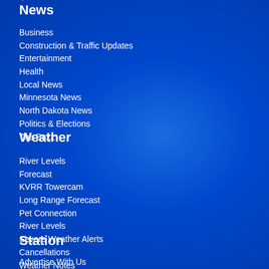News
Business
Construction & Traffic Updates
Entertainment
Health
Local News
Minnesota News
North Dakota News
Politics & Elections
The Buzz
Weather
River Levels
Forecast
KVRR Towercam
Long Range Forecast
Pet Connection
River Levels
Severe Weather Alerts
Cancellations
Weather Notes
Station
Advertise With Us
Antenna TV
Contact Us
Contests